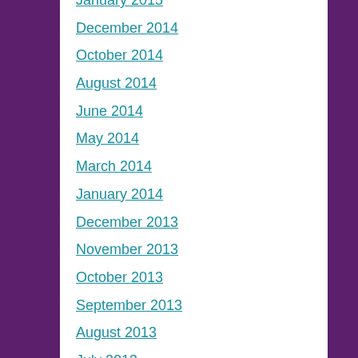January 2015
December 2014
October 2014
August 2014
June 2014
May 2014
March 2014
January 2014
December 2013
November 2013
October 2013
September 2013
August 2013
July 2013
June 2013
May 2013
March 2013